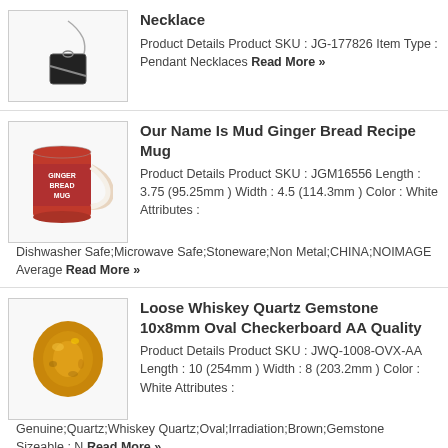[Figure (photo): Pendant necklace with black dog tag]
Necklace
Product Details Product SKU : JG-177826 Item Type : Pendant Necklaces Read More »
[Figure (photo): Red Ginger Bread Mug with white handle]
Our Name Is Mud Ginger Bread Recipe Mug
Product Details Product SKU : JGM16556 Length : 3.75 (95.25mm ) Width : 4.5 (114.3mm ) Color : White Attributes : Dishwasher Safe;Microwave Safe;Stoneware;Non Metal;CHINA;NOIMAGE Average Read More »
[Figure (photo): Golden whiskey quartz gemstone oval]
Loose Whiskey Quartz Gemstone 10x8mm Oval Checkerboard AA Quality
Product Details Product SKU : JWQ-1008-OVX-AA Length : 10 (254mm ) Width : 8 (203.2mm ) Color : White Attributes : Genuine;Quartz;Whiskey Quartz;Oval;Irradiation;Brown;Gemstone Sizeable : N Read More »
[Figure (photo): 14k yellow gold narrow tapered baguette setting]
14k Yellow Gold Narrow Tapered Baguette 6 X 2.25mm Setting
Product Details Product SKU : JYG198-13 Color : Yellow